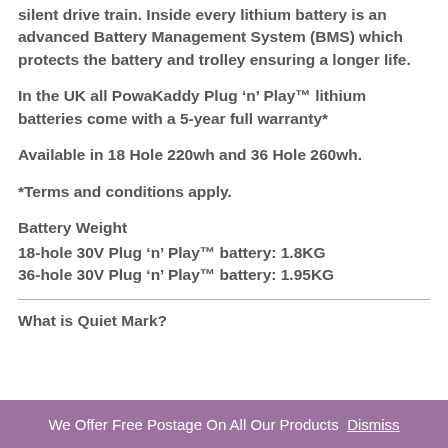silent drive train. Inside every lithium battery is an advanced Battery Management System (BMS) which protects the battery and trolley ensuring a longer life.
In the UK all PowaKaddy Plug ‘n’ Play™ lithium batteries come with a 5-year full warranty*
Available in 18 Hole 220wh and 36 Hole 260wh.
*Terms and conditions apply.
Battery Weight
18-hole 30V Plug ‘n’ Play™ battery: 1.8KG
36-hole 30V Plug ‘n’ Play™ battery: 1.95KG
What is Quiet Mark?
We Offer Free Postage On All Our Products  Dismiss